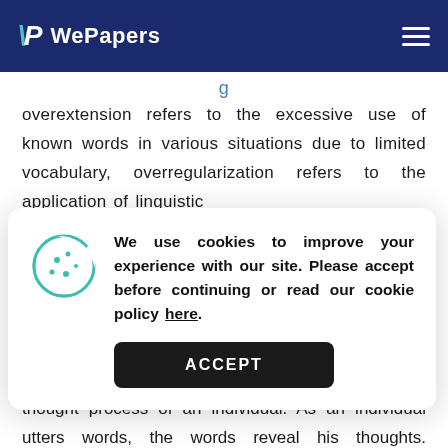WePapers
overextension refers to the excessive use of known words in various situations due to limited vocabulary, overregularization refers to the application of linguistic
[Figure (screenshot): Cookie consent modal with cookie icon, message about cookies improving experience, a link 'here', and an ACCEPT button]
various cognitive processes . It influences the thought process of an individual. As an individual utters words, the words reveal his thoughts. Language is special in terms of development as learning language does not